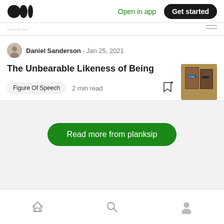Open in app  Get started
Daniel Sanderson · Jan 25, 2021
The Unbearable Likeness of Being
Figure Of Speech  2 min read
[Figure (photo): Thumbnail image of a book cover displayed on a bookshelf, brownish-orange tones]
Read more from planksip
Home  Search  Profile navigation icons